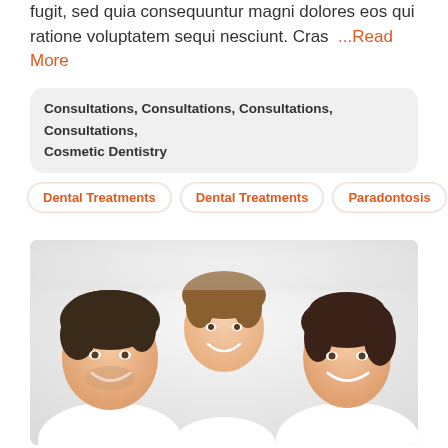fugit, sed quia consequuntur magni dolores eos qui ratione voluptatem sequi nesciunt. Cras …Read More
Consultations, Consultations, Consultations, Consultations, Cosmetic Dentistry
Dental Treatments
Dental Treatments
Paradontosis
[Figure (photo): A smiling family of three — a father, young boy, and mother — all wearing white shirts, looking up at the camera in a bright, cheerful setting.]